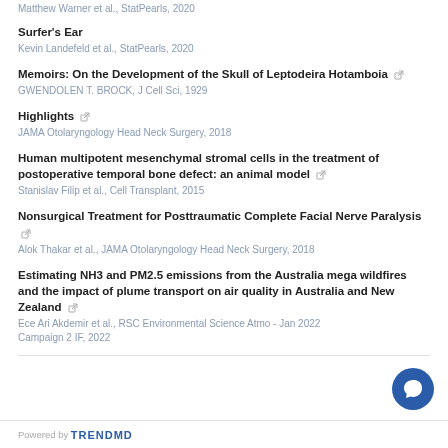Matthew Warner et al., StatPearls, 2020
Surfer's Ear
Kevin Landefeld et al., StatPearls, 2020
Memoirs: On the Development of the Skull of Leptodeira Hotamboia
GWENDOLEN T. BROCK, J Cell Sci, 1929
Highlights
JAMA Otolaryngology Head Neck Surgery, 2018
Human multipotent mesenchymal stromal cells in the treatment of postoperative temporal bone defect: an animal model
Stanislav Filip et al., Cell Transplant, 2015
Nonsurgical Treatment for Posttraumatic Complete Facial Nerve Paralysis
Alok Thakar et al., JAMA Otolaryngology Head Neck Surgery, 2018
Estimating NH3 and PM2.5 emissions from the Australia mega wildfires and the impact of plume transport on air quality in Australia and New Zealand
Ece Ari Akdemir et al., RSC Environmental Science Atmo - Jan 2022 Campaign 2 IF, 2022
Powered by TRENDMD